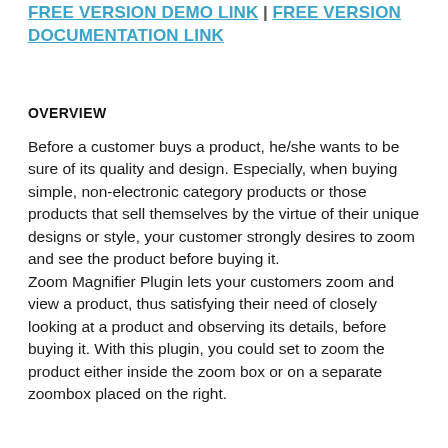FREE VERSION DEMO LINK | FREE VERSION DOCUMENTATION LINK
OVERVIEW
Before a customer buys a product, he/she wants to be sure of its quality and design. Especially, when buying simple, non-electronic category products or those products that sell themselves by the virtue of their unique designs or style, your customer strongly desires to zoom and see the product before buying it.
Zoom Magnifier Plugin lets your customers zoom and view a product, thus satisfying their need of closely looking at a product and observing its details, before buying it. With this plugin, you could set to zoom the product either inside the zoom box or on a separate zoombox placed on the right.